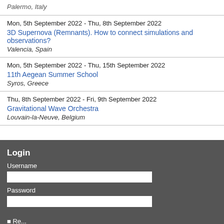Palermo, Italy
Mon, 5th September 2022  -  Thu, 8th September 2022
3D Supernova (Remnants). How to connect simulations and observations?
Valencia, Spain
Mon, 5th September 2022  -  Thu, 15th September 2022
11th Aegean Summer School
Syros, Greece
Thu, 8th September 2022  -  Fri, 9th September 2022
Gravitational Wave Orchestra
Louvain-la-Neuve, Belgium
Login
Username
Password
We use a small amount of cookies to ensure that we give you the best experience on our website. If you continue to use this site we will assume that you are happy with it. To find out more, including how to control cookies, see here: Privacy policy